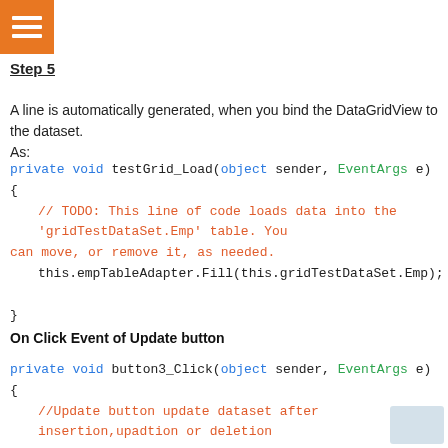[Figure (logo): Orange square icon with three white horizontal bars (hamburger menu icon)]
Step 5
A line is automatically generated, when you bind the DataGridView to the dataset. As:
private void testGrid_Load(object sender, EventArgs e)
{
    // TODO: This line of code loads data into the 'gridTestDataSet.Emp' table. You can move, or remove it, as needed.
    this.empTableAdapter.Fill(this.gridTestDataSet.Emp);
}
On Click Event of Update button
private void button3_Click(object sender, EventArgs e)
{
    //Update button update dataset after insertion,upadtion or deletion
    DialogResult dr = MessageBox.Show("Are you sure to save Changes",